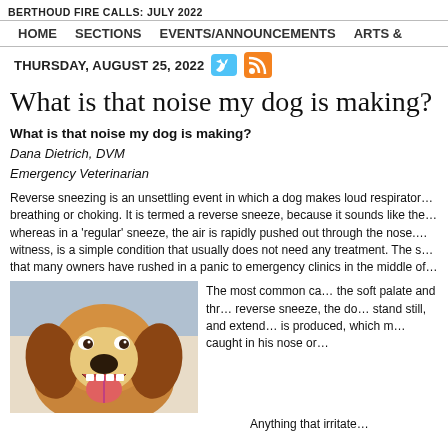BERTHOUD FIRE CALLS: JULY 2022
HOME   SECTIONS   EVENTS/ANNOUNCEMENTS   ARTS &
THURSDAY, AUGUST 25, 2022
What is that noise my dog is making?
What is that noise my dog is making?
Dana Dietrich, DVM
Emergency Veterinarian
Reverse sneezing is an unsettling event in which a dog makes loud respiratory noises that sound like he is having difficulty breathing or choking. It is termed a reverse sneeze, because it sounds like the air is being pulled in through the nose, whereas in a 'regular' sneeze, the air is rapidly pushed out through the nose. Reverse sneezing, though alarming to witness, is a simple condition that usually does not need any treatment. The sounds can be so frightening, however, that many owners have rushed in a panic to emergency clinics in the middle of the night.
[Figure (photo): Close-up photo of a beagle dog with mouth open and tongue visible, looking upward]
The most common ca... the soft palate and thr... reverse sneeze, the do... stand still, and extend... is produced, which m... caught in his nose or...
Anything that irritate...